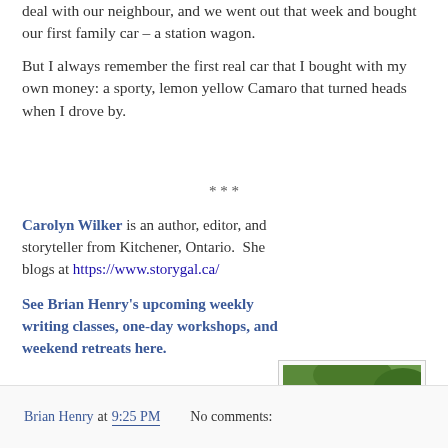deal with our neighbour, and we went out that week and bought our first family car – a station wagon.
But I always remember the first real car that I bought with my own money: a sporty, lemon yellow Camaro that turned heads when I drove by.
***
Carolyn Wilker is an author, editor, and storyteller from Kitchener, Ontario.  She blogs at https://www.storygal.ca/
[Figure (photo): Portrait photo of Carolyn Wilker, an older woman with short grey-blonde hair wearing a blue cardigan, posed outdoors with green foliage in the background.]
See Brian Henry's upcoming weekly writing classes, one-day workshops, and weekend retreats here.
Brian Henry at 9:25 PM    No comments: